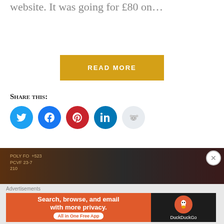website. It was going for £80 on...
READ MORE
Share this:
[Figure (infographic): Row of social media sharing icons: Twitter (blue circle), Facebook (blue circle), Pinterest (red circle), LinkedIn (dark teal circle), Reddit (light grey circle)]
Like this:
Like button
Be the first to like this.
[Figure (photo): Dark blurred image with faint glowing text/data on a dark brown and grey background]
Advertisements
[Figure (infographic): DuckDuckGo advertisement banner: orange left side with text 'Search, browse, and email with more privacy. All in One Free App'; dark right side with DuckDuckGo logo and duck icon]